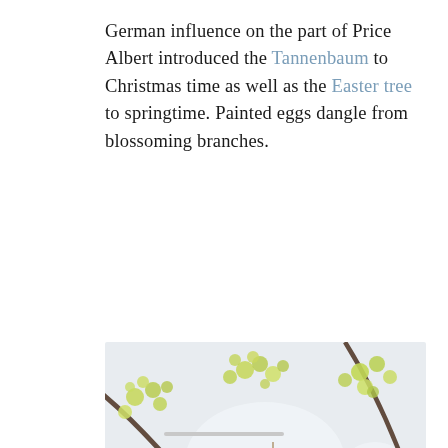German influence on the part of Price Albert introduced the Tannenbaum to Christmas time as well as the Easter tree to springtime. Painted eggs dangle from blossoming branches.
[Figure (photo): Three silver-mirrored decorated Easter eggs hanging from twine on blossoming springtime branches with yellow-green flowers against a white background.]